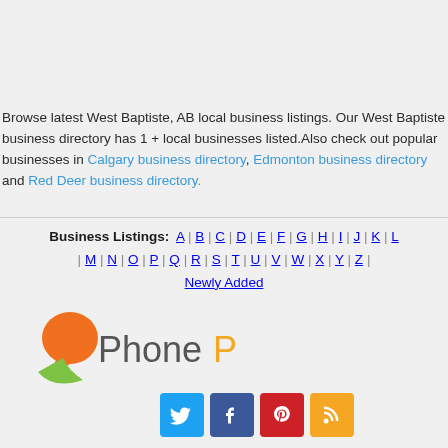Browse latest West Baptiste, AB local business listings. Our West Baptiste business directory has 1 + local businesses listed.Also check out popular businesses in Calgary business directory, Edmonton business directory and Red Deer business directory.
Business Listings: A | B | C | D | E | F | G | H | I | J | K | L | M | N | O | P | Q | R | S | T | U | V | W | X | Y | Z | Newly Added
[Figure (logo): PhonePages logo with orange speech bubble icon and green swoosh, text reads Phone in gray and Pages in orange]
[Figure (infographic): Social media icons: Twitter (blue), Facebook (dark blue), Pinterest (red), RSS (orange)]